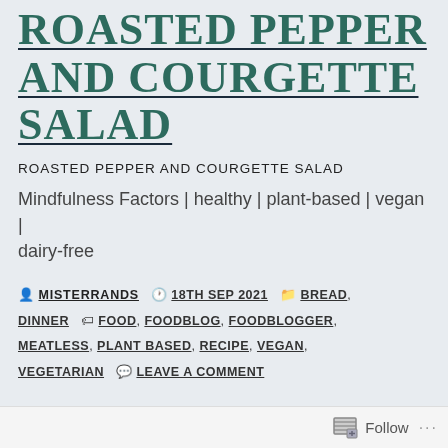ROASTED PEPPER AND COURGETTE SALAD
ROASTED PEPPER AND COURGETTE SALAD
Mindfulness Factors | healthy | plant-based | vegan | dairy-free
By MISTERRANDS  18TH SEP 2021  BREAD, DINNER  FOOD, FOODBLOG, FOODBLOGGER, MEATLESS, PLANT BASED, RECIPE, VEGAN, VEGETARIAN  LEAVE A COMMENT
Follow